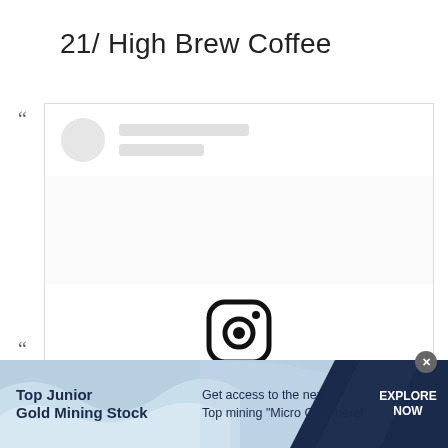21/ High Brew Coffee
[Figure (screenshot): Instagram embed placeholder showing a loading state with a gray avatar circle, two gray placeholder lines, a large white content area, the Instagram camera logo icon in the center, and a blue 'View this post on Instagram' link below the icon]
[Figure (infographic): Advertisement banner with light blue and dark navy wave background. Left section shows bold text 'Top Junior Gold Mining Stock'. Center text reads 'Get access to the next Top mining "Micro Cap" here!'. Right section has 'EXPLORE NOW' in white bold text on dark navy background. A gray close button (x) appears at top right of the banner.]